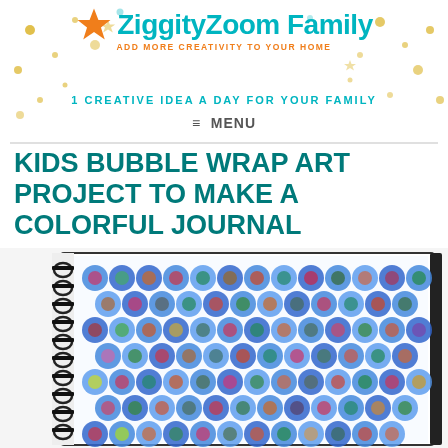ZiggityZoom Family — ADD MORE CREATIVITY TO YOUR HOME
1 CREATIVE IDEA A DAY FOR YOUR FAMILY
≡  MENU
KIDS BUBBLE WRAP ART PROJECT TO MAKE A COLORFUL JOURNAL
[Figure (photo): A spiral-bound journal with a colorful bubble wrap art cover featuring blue circles filled with multicolored crayon or paint marks on a white background.]